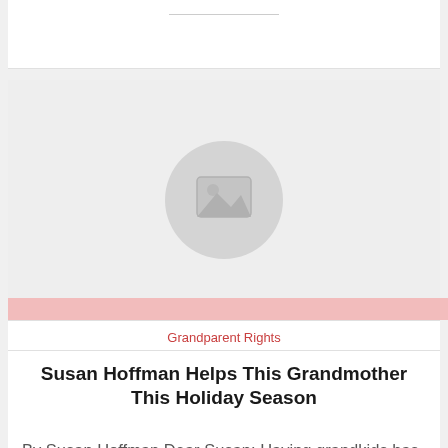[Figure (illustration): Image placeholder with a grey circle containing a landscape/photo icon placeholder, with a pink horizontal bar at the bottom of the image area]
Grandparent Rights
Susan Hoffman Helps This Grandmother This Holiday Season
By Susan Hoffman Dear Susan: Having grandkids has made the holidays even more special, but I'm worried this year will not be special at all. My daughter